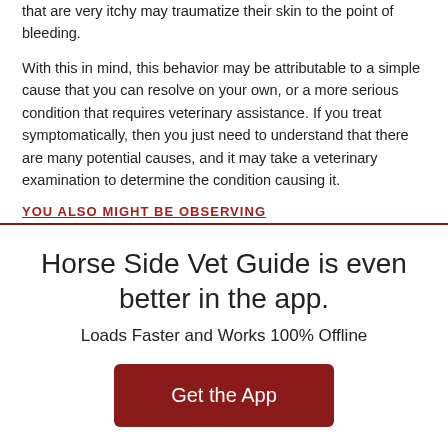that are very itchy may traumatize their skin to the point of bleeding.
With this in mind, this behavior may be attributable to a simple cause that you can resolve on your own, or a more serious condition that requires veterinary assistance. If you treat symptomatically, then you just need to understand that there are many potential causes, and it may take a veterinary examination to determine the condition causing it.
YOU ALSO MIGHT BE OBSERVING
Horse Side Vet Guide is even better in the app.
Loads Faster and Works 100% Offline
Get the App
or continue to mobile site